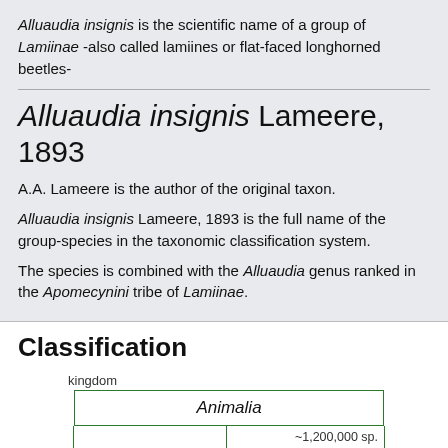Alluaudia insignis is the scientific name of a group of Lamiinae -also called lamiines or flat-faced longhorned beetles-
Alluaudia insignis Lameere, 1893
A.A. Lameere is the author of the original taxon.
Alluaudia insignis Lameere, 1893 is the full name of the group-species in the taxonomic classification system.
The species is combined with the Alluaudia genus ranked in the Apomecynini tribe of Lamiinae.
Classification
| kingdom |  |  |
| --- | --- | --- |
| Animalia |  |  |
|  | ~1,200,000 sp. |  |
| phylum |  |  |